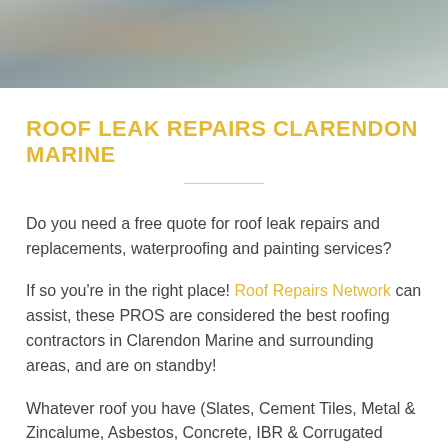[Figure (photo): Banner photo of roofing work, showing roofing materials and workers hands at the top of the page]
ROOF LEAK REPAIRS CLARENDON MARINE
Do you need a free quote for roof leak repairs and replacements, waterproofing and painting services?
If so you're in the right place! Roof Repairs Network can assist, these PROS are considered the best roofing contractors in Clarendon Marine and surrounding areas, and are on standby!
Whatever roof you have (Slates, Cement Tiles, Metal & Zincalume, Asbestos, Concrete, IBR & Corrugated Steel